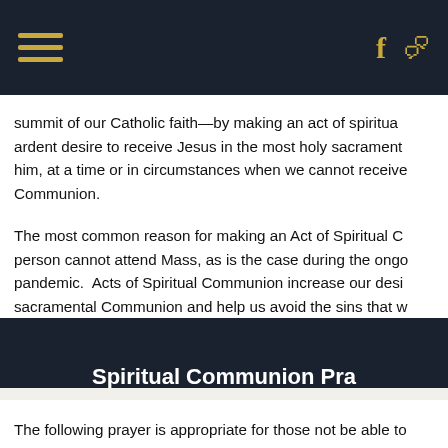Navigation bar with hamburger menu, Facebook icon, and chat icon
summit of our Catholic faith—by making an act of spiritual ardent desire to receive Jesus in the most holy sacrament him, at a time or in circumstances when we cannot receive Communion.
The most common reason for making an Act of Spiritual C person cannot attend Mass, as is the case during the ongo pandemic. Acts of Spiritual Communion increase our desi sacramental Communion and help us avoid the sins that w to receive Holy Communion worthily.
Spiritual Communion Pra
The following prayer is appropriate for those not be able to